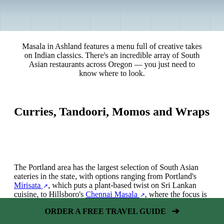[Figure (photo): Top portion of a restaurant interior photo showing chairs and tiled floor]
Masala in Ashland features a menu full of creative takes on Indian classics. There's an incredible array of South Asian restaurants across Oregon — you just need to know where to look.
Curries, Tandoori, Momos and Wraps
The Portland area has the largest selection of South Asian eateries in the state, with options ranging from Portland's Mirisata, which puts a plant-based twist on Sri Lankan cuisine, to Hillsboro's Chennai Masala, where the focus is on South Indian fare, often considered a lighter alternative to
ORDER A FREE TRAVEL GUIDE →